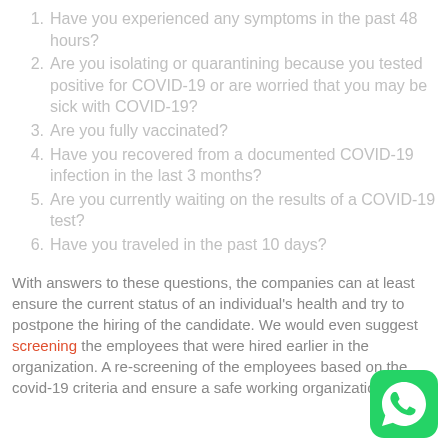1. Have you experienced any symptoms in the past 48 hours?
2. Are you isolating or quarantining because you tested positive for COVID-19 or are worried that you may be sick with COVID-19?
3. Are you fully vaccinated?
4. Have you recovered from a documented COVID-19 infection in the last 3 months?
5. Are you currently waiting on the results of a COVID-19 test?
6. Have you traveled in the past 10 days?
With answers to these questions, the companies can at least ensure the current status of an individual's health and try to postpone the hiring of the candidate. We would even suggest screening the employees that were hired earlier in the organization. A re-screening of the employees based on the covid-19 criteria and ensure a safe working organization.